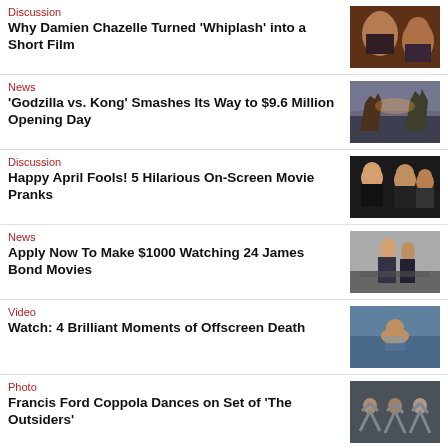Discussion
Why Damien Chazelle Turned 'Whiplash' into a Short Film
[Figure (photo): Man yelling in movie still from Whiplash]
News
'Godzilla vs. Kong' Smashes Its Way to $9.6 Million Opening Day
[Figure (photo): Godzilla vs Kong movie still]
Discussion
Happy April Fools! 5 Hilarious On-Screen Movie Pranks
[Figure (photo): Movie still with men in suits]
News
Apply Now To Make $1000 Watching 24 James Bond Movies
[Figure (photo): James Bond movie still with man in suit on street]
Video
Watch: 4 Brilliant Moments of Offscreen Death
[Figure (photo): Man in water movie still]
Photo
Francis Ford Coppola Dances on Set of 'The Outsiders'
[Figure (photo): People dancing on movie set in rain]